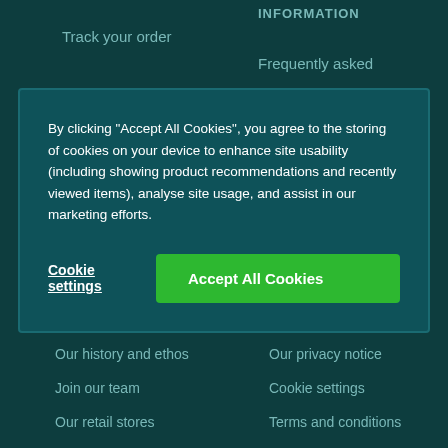Track your order
INFORMATION
Frequently asked
By clicking “Accept All Cookies”, you agree to the storing of cookies on your device to enhance site usability (including showing product recommendations and recently viewed items), analyse site usage, and assist in our marketing efforts.
Cookie settings
Accept All Cookies
Our history and ethos
Join our team
Our retail stores
Our gift card
View our catalogue
Our privacy notice
Cookie settings
Terms and conditions
Safe online shopping
Tips for spotting fake websites